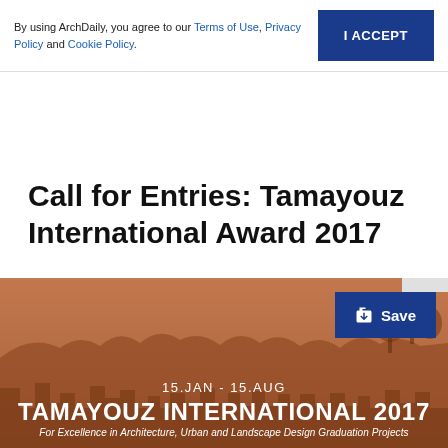By using ArchDaily, you agree to our Terms of Use, Privacy Policy and Cookie Policy.
I ACCEPT
Call for Entries: Tamayouz International Award 2017
[Figure (photo): Orange-tinted cityscape background with text overlay showing '15.JAN - 15.AUG', 'TAMAYOUZ INTERNATIONAL 2017', and subtitle 'For Excellence in Architecture, Urban and Landscape Design Graduation Projects'. A dark blue Save button is in the top right.]